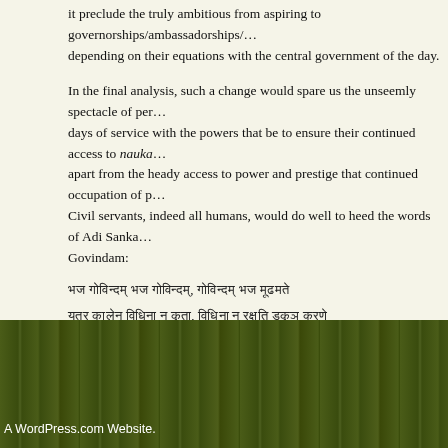it preclude the truly ambitious from aspiring to governorships/ambassadorships/… depending on their equations with the central government of the day.
In the final analysis, such a change would spare us the unseemly spectacle of per… days of service with the powers that be to ensure their continued access to nauka… apart from the heady access to power and prestige that continued occupation of p… Civil servants, indeed all humans, would do well to heed the words of Adi Sanka… Govindam:
भज गोविन्दम् भज गोविन्दम्, गोविन्दम् भज मूढमते
यत्र कालेन विधिना न कृता, विधिना न रक्षति डुकृञ् करणे
Day and night, dusk and dawn, winter and spring come and go again.
Time sports and life ebbs away, and yet the gust of desire never leaves us.
A WordPress.com Website.